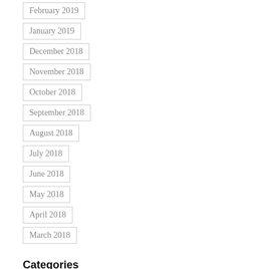February 2019
January 2019
December 2018
November 2018
October 2018
September 2018
August 2018
July 2018
June 2018
May 2018
April 2018
March 2018
Categories
All
2019
2020
2020 Review